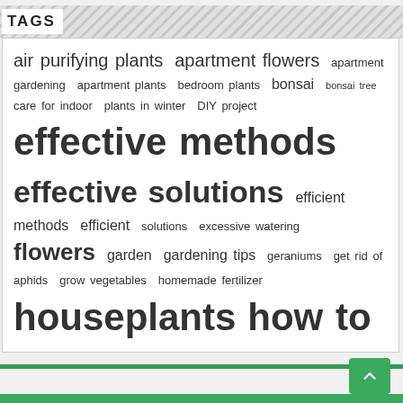TAGS
air purifying plants apartment flowers apartment gardening apartment plants bedroom plants bonsai bonsai tree care for indoor plants in winter DIY project effective methods effective solutions efficient methods efficient solutions excessive watering flowers garden gardening tips geraniums get rid of aphids grow vegetables homemade fertilizer houseplants how to get rid of how to prevent how to water orchids indoor plants natural fertilizer natural ingredients natural methods natural solutions orchid orchid leaves organic methods peace lily pest control pests potted plants proper care snails succulents tips and tricks vegetable garden wasps water houseplants water orchids